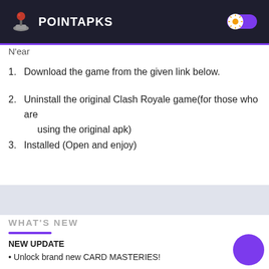POINTAPKS
N'ear
1. Download the game from the given link below.
2. Uninstall the original Clash Royale game(for those who are using the original apk)
3. Installed (Open and enjoy)
[Figure (other): Gray advertisement/placeholder box]
WHAT'S NEW
NEW UPDATE
• Unlock brand new CARD MASTERIES!